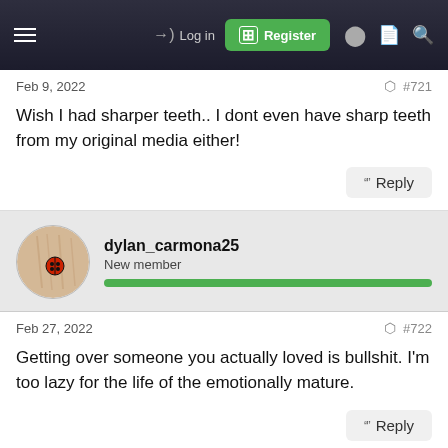Log in | Register
Feb 9, 2022  #721
Wish I had sharper teeth.. I dont even have sharp teeth from my original media either!
dylan_carmona25
New member
Feb 27, 2022  #722
Getting over someone you actually loved is bullshit. I'm too lazy for the life of the emotionally mature.